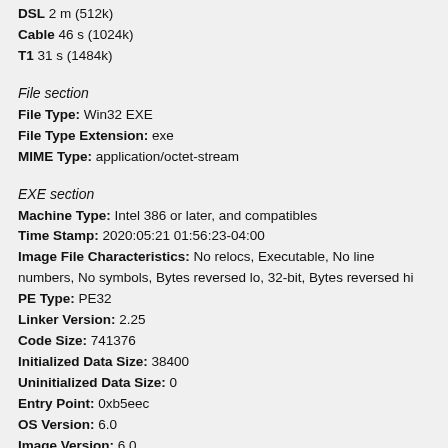DSL 2 m (512k)
Cable 46 s (1024k)
T1 31 s (1484k)
File section
File Type: Win32 EXE
File Type Extension: exe
MIME Type: application/octet-stream
EXE section
Machine Type: Intel 386 or later, and compatibles
Time Stamp: 2020:05:21 01:56:23-04:00
Image File Characteristics: No relocs, Executable, No line numbers, No symbols, Bytes reversed lo, 32-bit, Bytes reversed hi
PE Type: PE32
Linker Version: 2.25
Code Size: 741376
Initialized Data Size: 38400
Uninitialized Data Size: 0
Entry Point: 0xb5eec
OS Version: 6.0
Image Version: 6.0
Subsystem Version: 6.0
Subsystem: Windows GUI
File Version Number: 1.0.0.1
Product Version Number: 1.0.0.1